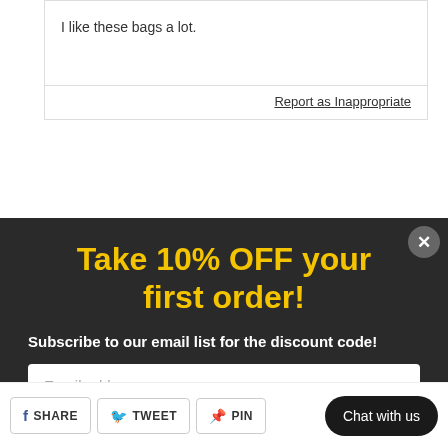I like these bags a lot.
Report as Inappropriate
Take 10% OFF your first order!
Subscribe to our email list for the discount code!
Email address
10% off!
riate
xt »
SHARE
TWEET
PIN
Chat with us